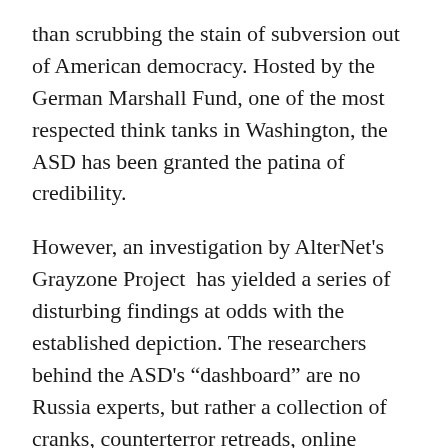than scrubbing the stain of subversion out of American democracy. Hosted by the German Marshall Fund, one of the most respected think tanks in Washington, the ASD has been granted the patina of credibility.
However, an investigation by AlterNet's Grayzone Project  has yielded a series of disturbing findings at odds with the established depiction. The researchers behind the ASD's “dashboard” are no Russia experts, but rather a collection of cranks, counterterror retreads, online harassers and paranoiacs operating with support from some of the most prominent figures operating within the American national security apparatus.
Andrew Weisburd, an ASD fellow, has in the past b...